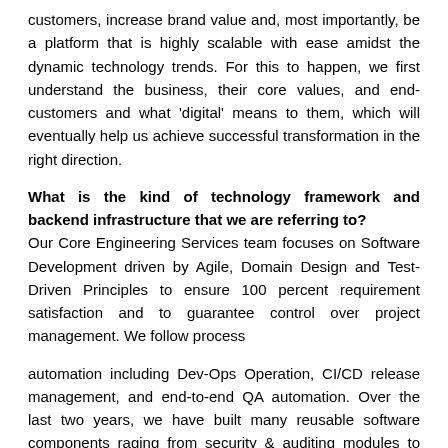customers, increase brand value and, most importantly, be a platform that is highly scalable with ease amidst the dynamic technology trends. For this to happen, we first understand the business, their core values, and end-customers and what 'digital' means to them, which will eventually help us achieve successful transformation in the right direction.
What is the kind of technology framework and backend infrastructure that we are referring to?
Our Core Engineering Services team focuses on Software Development driven by Agile, Domain Design and Test-Driven Principles to ensure 100 percent requirement satisfaction and to guarantee control over project management. We follow process
automation including Dev-Ops Operation, CI/CD release management, and end-to-end QA automation. Over the last two years, we have built many reusable software components raging from security & auditing modules to mobile app reusable components, cloud native components, bot framework, and AI recognition pipeline. These frameworks help us deliver quality products and software comparatively faster than others. This is why our solutions boast of diversified